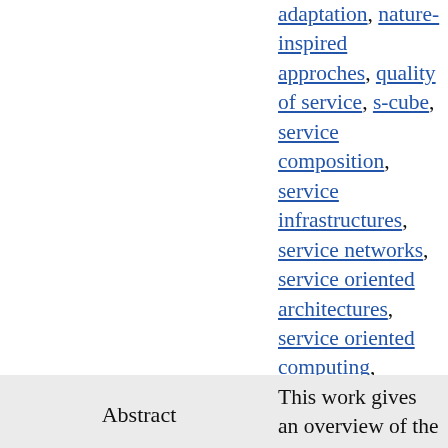adaptation, nature-inspired approches, quality of service, s-cube, service composition, service infrastructures, service networks, service oriented architectures, service oriented computing, service technology foundations
Abstract: This work gives an overview of the future research challenges on enabling technologies for service-based applications that have been identified in the network of excellence S-Cube. Service-based applications comprise three layers: business processes, service compositions and services and service infrastructures. The goal of this work is to present a roadmap for future research in technologies